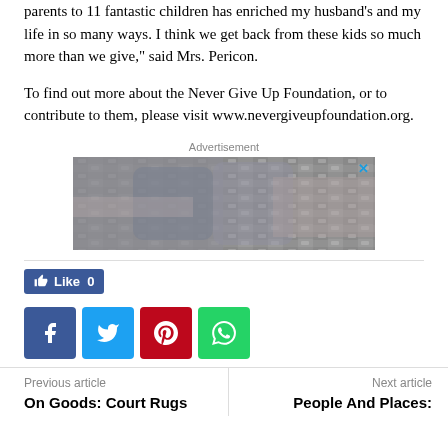parents to 11 fantastic children has enriched my husband's and my life in so many ways. I think we get back from these kids so much more than we give," said Mrs. Pericon.
To find out more about the Never Give Up Foundation, or to contribute to them, please visit www.nevergiveupfoundation.org.
Advertisement
[Figure (other): FEIZY advertisement banner showing rolled rugs in grey, blue, and pink tones with the brand name FEIZY overlaid in large white serif letters]
Like 0
[Figure (other): Social share buttons: Facebook (blue), Twitter (light blue), Pinterest (red), WhatsApp (green)]
Previous article
On Goods: Court Rugs
Next article
People And Places: